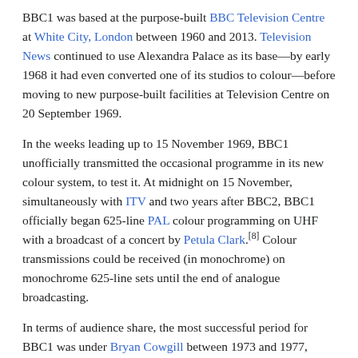BBC1 was based at the purpose-built BBC Television Centre at White City, London between 1960 and 2013. Television News continued to use Alexandra Palace as its base—by early 1968 it had even converted one of its studios to colour—before moving to new purpose-built facilities at Television Centre on 20 September 1969.
In the weeks leading up to 15 November 1969, BBC1 unofficially transmitted the occasional programme in its new colour system, to test it. At midnight on 15 November, simultaneously with ITV and two years after BBC2, BBC1 officially began 625-line PAL colour programming on UHF with a broadcast of a concert by Petula Clark.[8] Colour transmissions could be received (in monochrome) on monochrome 625-line sets until the end of analogue broadcasting.
In terms of audience share, the most successful period for BBC1 was under Bryan Cowgill between 1973 and 1977, when the channel achieved an average audience share of 45%.[9] This period is still regarded by many as a golden age of the BBC's output, with the BBC achieving a very high standard across its entire range of programmes, including entertainment and drama programming.